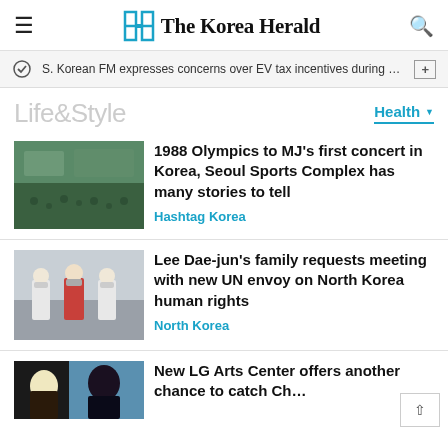The Korea Herald
S. Korean FM expresses concerns over EV tax incentives during c…
Life&Style
Health
1988 Olympics to MJ's first concert in Korea, Seoul Sports Complex has many stories to tell
Hashtag Korea
Lee Dae-jun's family requests meeting with new UN envoy on North Korea human rights
North Korea
New LG Arts Center offers another chance to catch Ch…